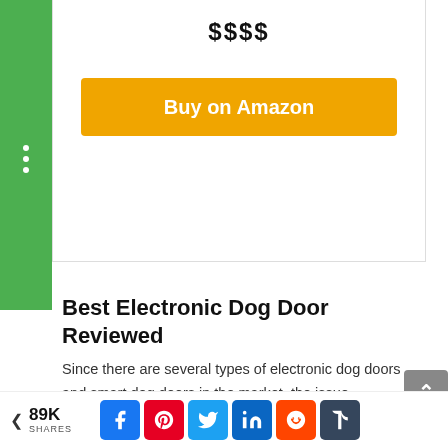$$$$
Buy on Amazon
Best Electronic Dog Door Reviewed
Since there are several types of electronic dog doors and smart dog doors in the market, the issue wouldn't be how to find one but rather which one to choose:
Endura Flap Double Flap Wall
89K SHARES | Facebook | Pinterest | Twitter | LinkedIn | Reddit | Tumblr